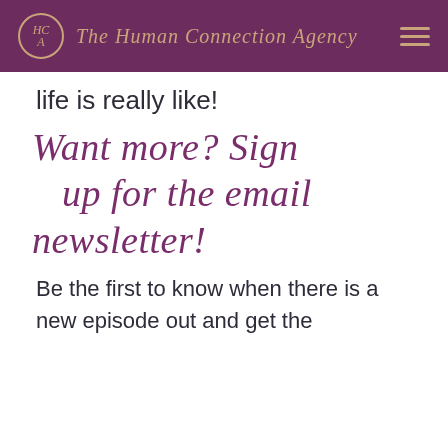The Human Connection Agency
life is really like!
Want more? Sign up for the email newsletter!
Be the first to know when there is a new episode out and get the